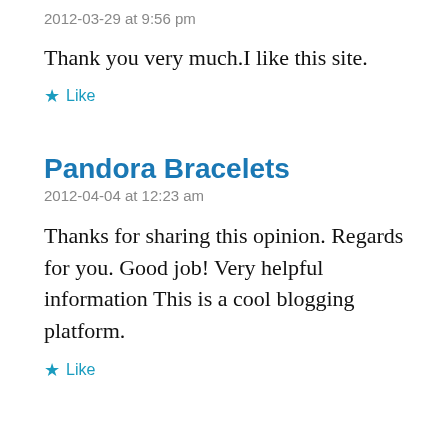2012-03-29 at 9:56 pm
Thank you very much.I like this site.
★ Like
Pandora Bracelets
2012-04-04 at 12:23 am
Thanks for sharing this opinion. Regards for you. Good job! Very helpful information This is a cool blogging platform.
★ Like